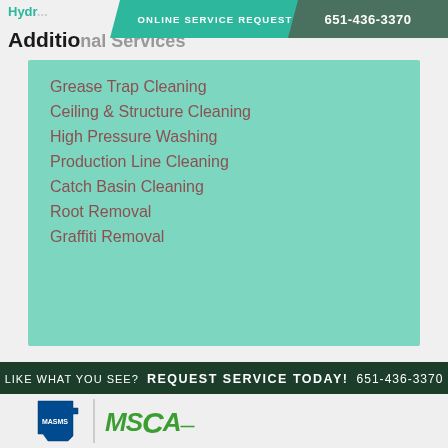ONLINE SERVICE REQUEST   651-436-3370
Additional Services
Grease Trap Cleaning
Ceiling & Structure Cleaning
High Pressure Washing
Production Line Cleaning
Catch Basin Cleaning
Root Removal
Graffiti Removal
LIKE WHAT YOU SEE?  REQUEST SERVICE TODAY!  651-436-3370  Request Service  VIEW VIDEO
[Figure (logo): MASMS and MSCA organization logos at bottom of page]